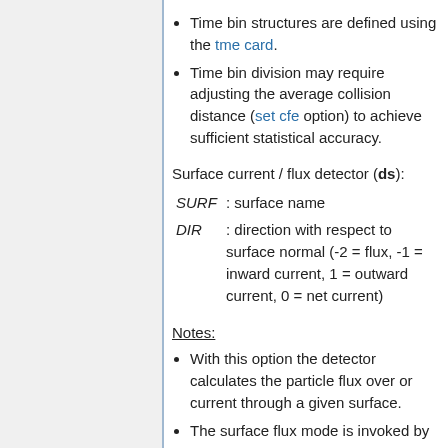Time bin structures are defined using the tme card.
Time bin division may require adjusting the average collision distance (set cfe option) to achieve sufficient statistical accuracy.
Surface current / flux detector (ds):
SURF : surface name
DIR : direction with respect to surface normal (-2 = flux, -1 = inward current, 1 = outward current, 0 = net current)
Notes:
With this option the detector calculates the particle flux over or current through a given surface.
The surface flux mode is invoked by